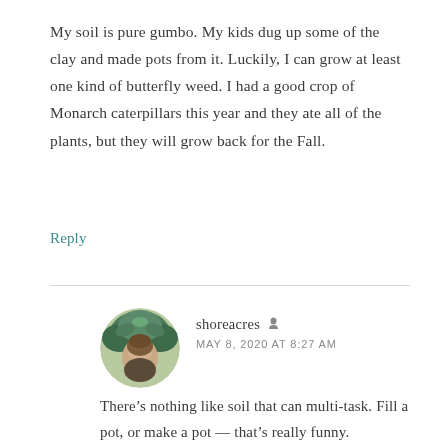My soil is pure gumbo. My kids dug up some of the clay and made pots from it. Luckily, I can grow at least one kind of butterfly weed. I had a good crop of Monarch caterpillars this year and they ate all of the plants, but they will grow back for the Fall.
Reply
[Figure (illustration): Circular avatar image of shoreacres user, depicting an illustrated figure with green foliage/leaves]
shoreacres
MAY 8, 2020 AT 8:27 AM
There's nothing like soil that can multi-task. Fill a pot, or make a pot — that's really funny.